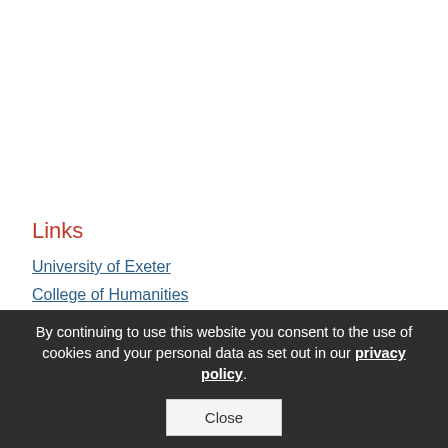Links
University of Exeter
College of Humanities
Exeter Digital Humanities
Digital Humanities team
By continuing to use this website you consent to the use of cookies and your personal data as set out in our privacy policy.
Close